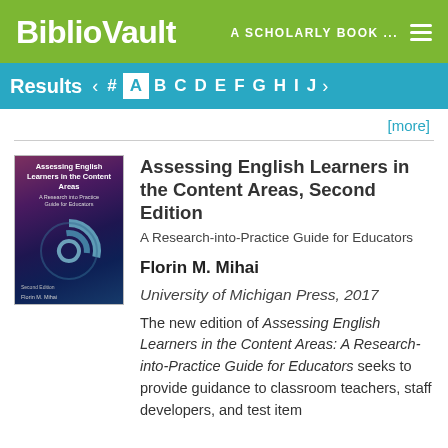BiblioVault  A SCHOLARLY BOOK ...
Results  # A B C D E F G H I J [more]
[Figure (illustration): Book cover of 'Assessing English Learners in the Content Areas' with dark purple/blue swirl design]
Assessing English Learners in the Content Areas, Second Edition
A Research-into-Practice Guide for Educators
Florin M. Mihai
University of Michigan Press, 2017
The new edition of Assessing English Learners in the Content Areas: A Research-into-Practice Guide for Educators seeks to provide guidance to classroom teachers, staff developers, and test item